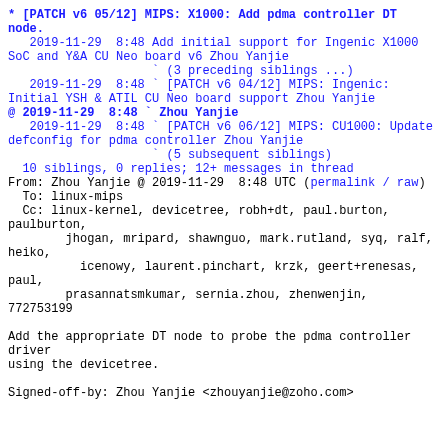* [PATCH v6 05/12] MIPS: X1000: Add pdma controller DT node.
   2019-11-29  8:48 Add initial support for Ingenic X1000 SoC and Y&A CU Neo board v6 Zhou Yanjie
                    ` (3 preceding siblings ...)
   2019-11-29  8:48 ` [PATCH v6 04/12] MIPS: Ingenic: Initial YSH & ATIL CU Neo board support Zhou Yanjie
@ 2019-11-29  8:48 ` Zhou Yanjie
   2019-11-29  8:48 ` [PATCH v6 06/12] MIPS: CU1000: Update defconfig for pdma controller Zhou Yanjie
                    ` (5 subsequent siblings)
   10 siblings, 0 replies; 12+ messages in thread
From: Zhou Yanjie @ 2019-11-29  8:48 UTC (permalink / raw)
  To: linux-mips
  Cc: linux-kernel, devicetree, robh+dt, paul.burton, paulburton,
        jhogan, mripard, shawnguo, mark.rutland, syq, ralf, heiko,
          icenowy, laurent.pinchart, krzk, geert+renesas, paul,
        prasannatsmkumar, sernia.zhou, zhenwenjin, 772753199

Add the appropriate DT node to probe the pdma controller driver
using the devicetree.

Signed-off-by: Zhou Yanjie <zhouyanjie@zoho.com>